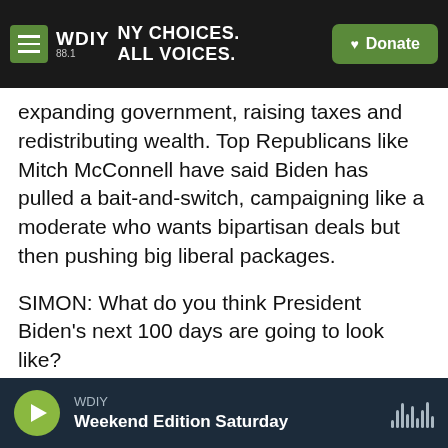WDIY 88.1 | NY CHOICES. ALL VOICES. | Donate
expanding government, raising taxes and redistributing wealth. Top Republicans like Mitch McConnell have said Biden has pulled a bait-and-switch, campaigning like a moderate who wants bipartisan deals but then pushing big liberal packages.
SIMON: What do you think President Biden's next 100 days are going to look like?
ORDOÑEZ: Well, I can tell you that he's going to meet with lawmakers to talk about his ideas. You know, he says he's willing to negotiate. And there are signs of that already happening. We expect he'll
WDIY | Weekend Edition Saturday